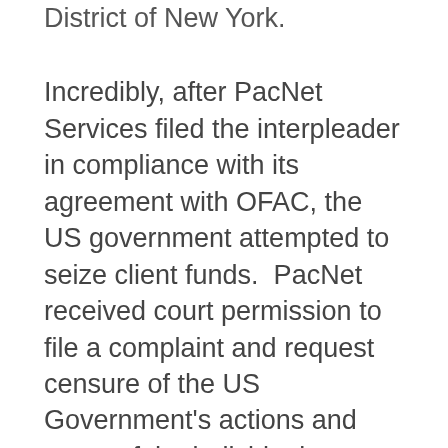District of New York.
Incredibly, after PacNet Services filed the interpleader in compliance with its agreement with OFAC, the US government attempted to seize client funds.  PacNet received court permission to file a complaint and request censure of the US Government's actions and some of the individual lawyers involved. A former Chexx Inc client, i-Payout, joined the court action in support of PacNet's complaint.  Click here to read PacNet Service's reply brief to the District Court of New York.
On 26 October 2017, OFAC announced removal of the entire PacNet Services Group